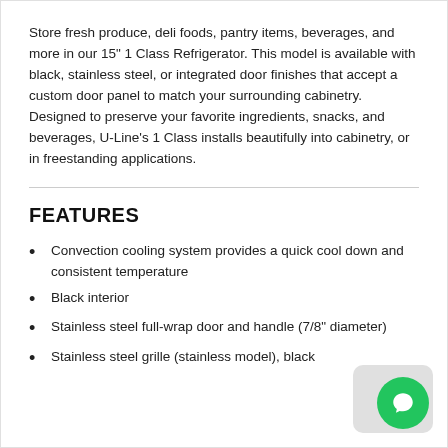Store fresh produce, deli foods, pantry items, beverages, and more in our 15" 1 Class Refrigerator. This model is available with black, stainless steel, or integrated door finishes that accept a custom door panel to match your surrounding cabinetry. Designed to preserve your favorite ingredients, snacks, and beverages, U-Line's 1 Class installs beautifully into cabinetry, or in freestanding applications.
FEATURES
Convection cooling system provides a quick cool down and consistent temperature
Black interior
Stainless steel full-wrap door and handle (7/8" diameter)
Stainless steel grille (stainless model), black